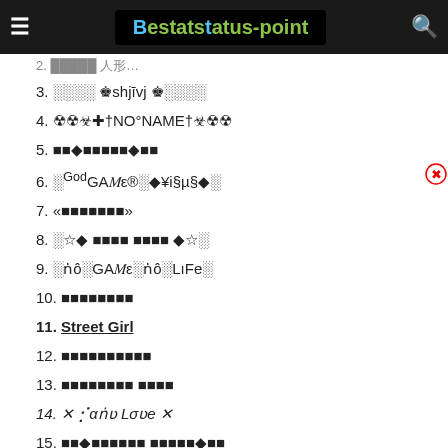Beststatus-point
2. [cut off / partially visible]
3. 🔲🔲👑shjīv👑🔲🔲
4. ☢☢☢✚†NO°NAME†☢☢☢
5. 🔲🔲♦🔲🔲🔲🔲🔲♦🔲🔲
6. 🔲GodGAME®🔲♦¥i§µ§♦🔲
7. «🔲🔲🔲🔲🔲🔲»
8. 🔲☆♦ 🔲🔲🔲🔲 🔲🔲🔲🔲 ♦☆🔲
9. 🔲ṅôlGAMElṅôlLıFe🔲
10. 🔲🔲🔲🔲🔲🔲🔲🔲
11. Street Girl
12. 🔲🔲🔲🔲🔲🔲🔲🔲🔲🔲
13. 🔲🔲🔲🔲🔲🔲🔲🔲 🔲🔲🔲🔲
14. X ʝαṅυ Lσʋe X
15. 🔲🔲♦🔲🔲🔲🔲🔲🔲 🔲🔲🔲🔲🔲♦🔲🔲
16. ˙···•🔲🔲🔲♦🔲🔲🔲🔲🔲'🔲 🔲🔲🔲🔲♦🔲🔲🔲•···˙